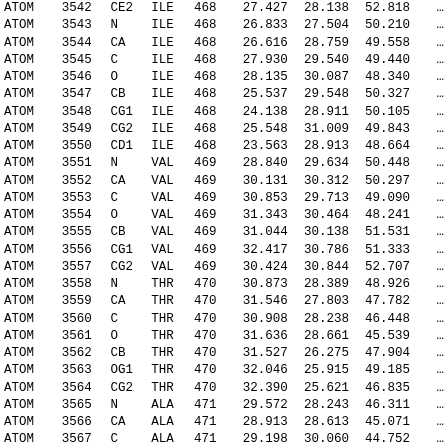| record | serial | name | resName | resSeq | x | y | z | ... |
| --- | --- | --- | --- | --- | --- | --- | --- | --- |
| ATOM | 3542 | CE2 | ILE | 468 | 27.427 | 28.138 | 52.818 | ... |
| ATOM | 3543 | N | ILE | 468 | 26.833 | 27.504 | 50.210 | ... |
| ATOM | 3544 | CA | ILE | 468 | 26.616 | 28.759 | 49.558 | ... |
| ATOM | 3545 | C | ILE | 468 | 27.930 | 29.540 | 49.440 | ... |
| ATOM | 3546 | O | ILE | 468 | 28.135 | 30.087 | 48.340 | ... |
| ATOM | 3547 | CB | ILE | 468 | 25.537 | 29.548 | 50.327 | ... |
| ATOM | 3548 | CG1 | ILE | 468 | 24.138 | 28.911 | 50.105 | ... |
| ATOM | 3549 | CG2 | ILE | 468 | 25.548 | 31.009 | 49.843 | ... |
| ATOM | 3550 | CD1 | ILE | 468 | 23.563 | 28.913 | 48.664 | ... |
| ATOM | 3551 | N | VAL | 469 | 28.840 | 29.634 | 50.448 | ... |
| ATOM | 3552 | CA | VAL | 469 | 30.131 | 30.312 | 50.297 | ... |
| ATOM | 3553 | C | VAL | 469 | 30.853 | 29.713 | 49.090 | ... |
| ATOM | 3554 | O | VAL | 469 | 31.343 | 30.464 | 48.241 | ... |
| ATOM | 3555 | CB | VAL | 469 | 31.044 | 30.138 | 51.531 | ... |
| ATOM | 3556 | CG1 | VAL | 469 | 32.417 | 30.786 | 51.333 | ... |
| ATOM | 3557 | CG2 | VAL | 469 | 30.424 | 30.844 | 52.707 | ... |
| ATOM | 3558 | N | THR | 470 | 30.873 | 28.389 | 48.926 | ... |
| ATOM | 3559 | CA | THR | 470 | 31.546 | 27.803 | 47.782 | ... |
| ATOM | 3560 | C | THR | 470 | 30.908 | 28.238 | 46.448 | ... |
| ATOM | 3561 | O | THR | 470 | 31.636 | 28.661 | 45.539 | ... |
| ATOM | 3562 | CB | THR | 470 | 31.527 | 26.275 | 47.904 | ... |
| ATOM | 3563 | OG1 | THR | 470 | 32.046 | 25.915 | 49.185 | ... |
| ATOM | 3564 | CG2 | THR | 470 | 32.390 | 25.621 | 46.835 | ... |
| ATOM | 3565 | N | ALA | 471 | 29.572 | 28.243 | 46.311 | ... |
| ATOM | 3566 | CA | ALA | 471 | 28.913 | 28.613 | 45.071 | ... |
| ATOM | 3567 | C | ALA | 471 | 29.198 | 30.060 | 44.752 | ... |
| ATOM | 3568 | O | ALA | 471 | 29.576 | 30.374 | 43.621 | ... |
| ATOM | 3569 | CB | ALA | 471 | 27.431 | 28.410 | 45.204 | ... |
| ATOM | 3570 | N | LEU | 472 | 29.127 | 30.942 | 45.749 | ... |
| ATOM | 3571 | CA | LEU | 472 | 29.448 | 32.354 | 45.550 | ... |
| ATOM | 3572 | C | LEU | 472 | 30.935 | 32.625 | 45.346 | ... |